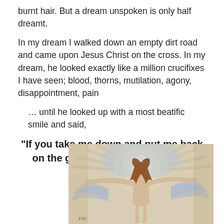burnt hair. But a dream unspoken is only half dreamt.
In my dream I walked down an empty dirt road and came upon Jesus Christ on the cross. In my dream, he looked exactly like a million crucifixes I have seen; blood, thorns, mutilation, agony, disappointment, pain
… until he looked up with a most beatific smile and said,
“If you take me down and put me back on the ground again we could get something done!”
[Figure (illustration): A classical illustration (William Blake style) of a radiant figure with arms outstretched and wings, surrounded by rays of light, with brownish-golden tones on a beige background. Signature visible at bottom left reading 'FHL'.]